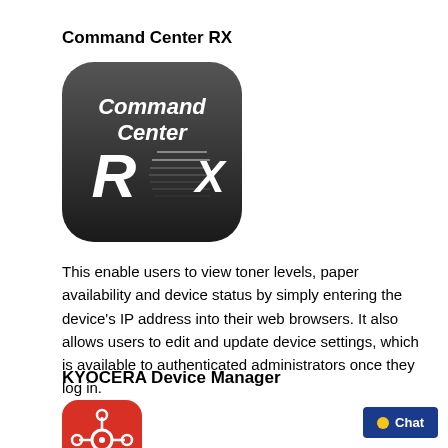Command Center RX
[Figure (logo): Command Center RX app icon — dark rounded square with 'Command Center RX' text and stylized RX logo in white on black/dark grey background]
This enable users to view toner levels, paper availability and device status by simply entering the device's IP address into their web browsers. It also allows users to edit and update device settings, which is available to authenticated administrators once they log in.
KYOCERA Device Manager
[Figure (logo): KYOCERA Device Manager app icon — red rounded square with white network/device manager icon]
Chat button